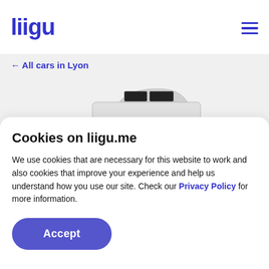liigu
← All cars in Lyon
[Figure (photo): Partial view of a silver/white car roof and windows, cropped]
Cookies on liigu.me
We use cookies that are necessary for this website to work and also cookies that improve your experience and help us understand how you use our site. Check our Privacy Policy for more information.
Accept